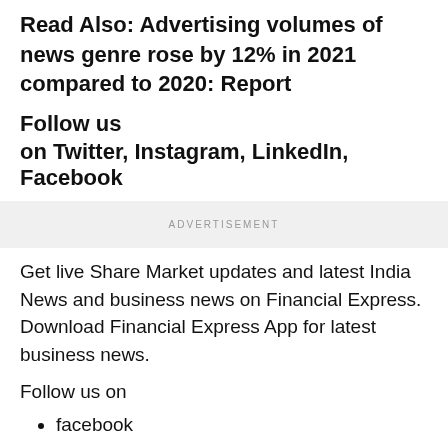Read Also: Advertising volumes of news genre rose by 12% in 2021 compared to 2020: Report
Follow us
on Twitter, Instagram, LinkedIn, Facebook
ADVERTISEMENT
Get live Share Market updates and latest India News and business news on Financial Express. Download Financial Express App for latest business news.
Follow us on
facebook
twitter
instagram